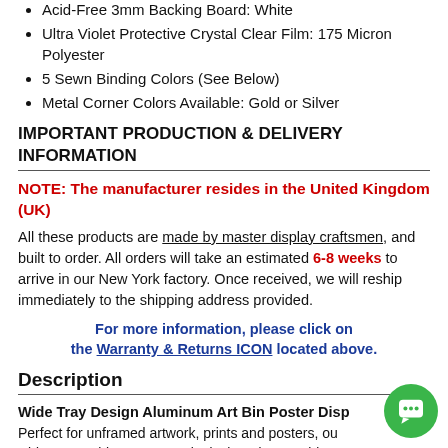Acid-Free 3mm Backing Board: White
Ultra Violet Protective Crystal Clear Film: 175 Micron Polyester
5 Sewn Binding Colors (See Below)
Metal Corner Colors Available: Gold or Silver
IMPORTANT PRODUCTION & DELIVERY INFORMATION
NOTE: The manufacturer resides in the United Kingdom (UK)
All these products are made by master display craftsmen, and built to order. All orders will take an estimated 6-8 weeks to arrive in our New York factory. Once received, we will reship immediately to the shipping address provided.
For more information, please click on the Warranty & Returns ICON located above.
Description
Wide Tray Design Aluminum Art Bin Poster Display
Perfect for unframed artwork, prints and posters, our wide tray art bins are not only designed to provide